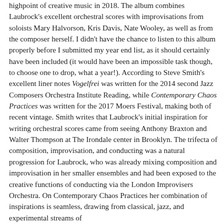highpoint of creative music in 2018. The album combines Laubrock's excellent orchestral scores with improvisations from soloists Mary Halvorson, Kris Davis, Nate Wooley, as well as from the composer herself. I didn't have the chance to listen to this album properly before I submitted my year end list, as it should certainly have been included (it would have been an impossible task though, to choose one to drop, what a year!). According to Steve Smith's excellent liner notes Vogelfrei was written for the 2014 second Jazz Composers Orchestra Institute Reading, while Contemporary Chaos Practices was written for the 2017 Moers Festival, making both of recent vintage. Smith writes that Laubrock's initial inspiration for writing orchestral scores came from seeing Anthony Braxton and Walter Thompson at The Irondale center in Brooklyn. The trifecta of composition, improvisation, and conducting was a natural progression for Laubrock, who was already mixing composition and improvisation in her smaller ensembles and had been exposed to the creative functions of conducting via the London Improvisers Orchestra. On Contemporary Chaos Practices her combination of inspirations is seamless, drawing from classical, jazz, and experimental streams of